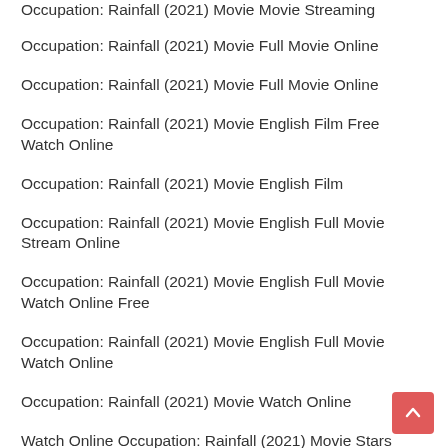Occupation: Rainfall (2021) Movie Movie Streaming
Occupation: Rainfall (2021) Movie Full Movie Online
Occupation: Rainfall (2021) Movie Full Movie Online
Occupation: Rainfall (2021) Movie English Film Free Watch Online
Occupation: Rainfall (2021) Movie English Film
Occupation: Rainfall (2021) Movie English Full Movie Stream Online
Occupation: Rainfall (2021) Movie English Full Movie Watch Online Free
Occupation: Rainfall (2021) Movie English Full Movie Watch Online
Occupation: Rainfall (2021) Movie Watch Online
Watch Online Occupation: Rainfall (2021) Movie Stars
Occupation: Rainfall (2021) Movie English Full Movie Download